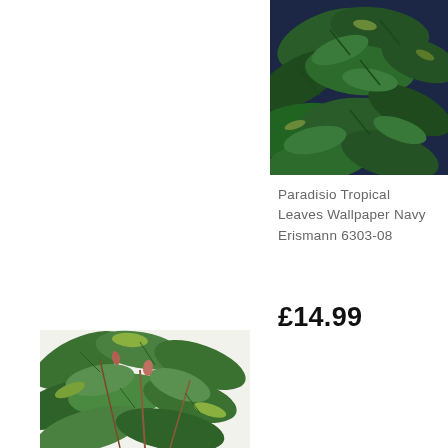[Figure (photo): Tropical leaves wallpaper pattern on dark navy blue background, green glossy leaves densely arranged]
Paradisio Tropical Leaves Wallpaper Navy Erismann 6303-08
£14.99
[Figure (photo): Tropical leaves wallpaper pattern on white/cream background, green leaves with various tropical plants]